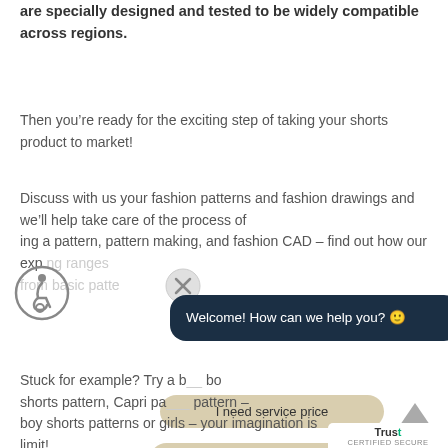are specially designed and tested to be widely compatible across regions.
Then you’re ready for the exciting step of taking your shorts product to market!
Discuss with us your fashion patterns and fashion drawings and we’ll help take care of the process of ing a pattern, pattern making, and fashion CAD – find out how our exp ng ranges from basic patte
Stuck for example? Try a b bo shorts pattern, Capri pa pattern – boy shorts patterns or girls – your imagination is limit!
[Figure (screenshot): Accessibility icon (wheelchair symbol in circle)]
[Figure (screenshot): Close/dismiss button (X in circle)]
[Figure (screenshot): Chat widget with dark bubble saying 'Welcome! How can we help you?' and three beige quick-reply buttons: 'I need service price', 'I want to place an order', 'I need shipping address'. Also shows scroll-to-top arrow and robot avatar.]
[Figure (logo): Trustpilot Certified Secure badge]